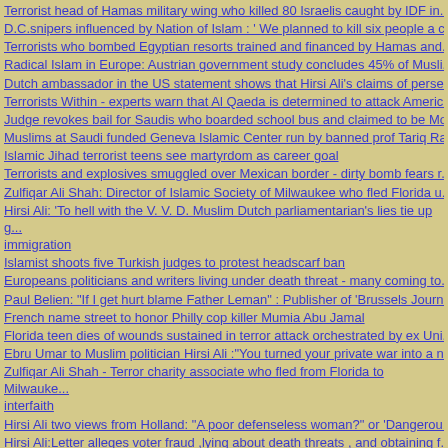Terrorist head of Hamas military wing who killed 80 Israelis caught by IDF in...
D.C.snipers influenced by Nation of Islam : ' We planned to kill six people a c...
Terrorists who bombed Egyptian resorts trained and financed by Hamas and...
Radical Islam in Europe: Austrian government study concludes 45% of Musli...
Dutch ambassador in the US statement shows that Hirsi Ali's claims of perse...
Terrorists Within - experts warn that Al Qaeda is determined to attack Americ...
Judge revokes bail for Saudis who boarded school bus and claimed to be Mo...
Muslims at Saudi funded Geneva Islamic Center run by banned prof Tariq Ra...
Islamic Jihad terrorist teens see martyrdom as career goal
Terrorists and explosives smuggled over Mexican border - dirty bomb fears r...
Zulfiqar Ali Shah: Director of Islamic Society of Milwaukee who fled Florida u...
Hirsi Ali: 'To hell with the V. V. D. Muslim Dutch parliamentarian's lies tie up g... immigration
Islamist shoots five Turkish judges to protest headscarf ban
Europeans politicians and writers living under death threat - many coming to...
Paul Belien: "If I get hurt blame Father Leman" : Publisher of 'Brussels Journ...
French name street to honor Philly cop killer Mumia Abu Jamal
Florida teen dies of wounds sustained in terror attack orchestrated by ex Uni...
Ebru Umar to Muslim politician Hirsi Ali :"You turned your private war into a n...
Zulfiqar Ali Shah - Terror charity associate who fled from Florida to Milwauke... interfaith
Hirsi Ali two views from Holland: "A poor defenseless woman?" or 'Dangerou...
Hirsi Ali:Letter alleges voter fraud ,lying about death threats , and obtaining f...
Hirsi Ali's lies: Muslim Dutch parlimentarian's asylum fraud hurts party credib...
Hirsi Ali: Muslim Dutch politician fraudulently obtained asylum -Documentary...
London bombing report says failure to stop attacks due to lack of resources a...
Ahmanidinejad's letter to Bush complete text : "An ominous portent"